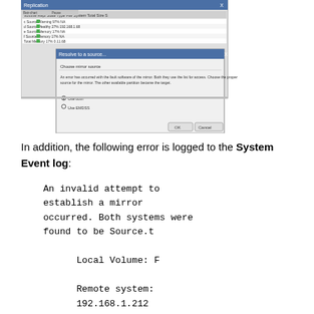[Figure (screenshot): A screenshot of a Windows disk management dialog showing a mirror setup wizard with options 'Use both' and 'Use EMDSS'.]
In addition, the following error is logged to the System Event log:
An invalid attempt to establish a mirror occurred. Both systems were found to be Source.t

        Local Volume: F

        Remote system: 192.168.1.212

        Remote Volume: F

        The mirror has been